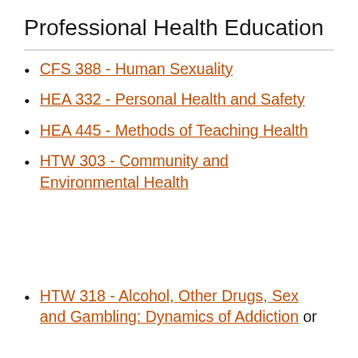Professional Health Education
CFS 388 - Human Sexuality
HEA 332 - Personal Health and Safety
HEA 445 - Methods of Teaching Health
HTW 303 - Community and Environmental Health
HTW 318 - Alcohol, Other Drugs, Sex and Gambling: Dynamics of Addiction or